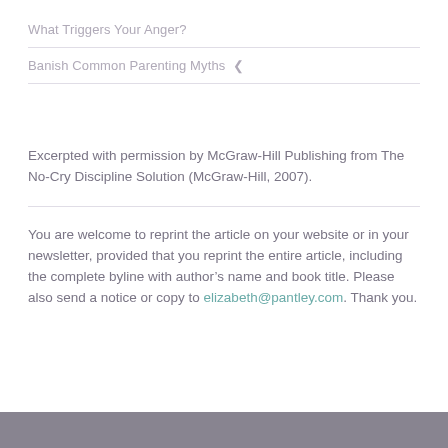What Triggers Your Anger?
Banish Common Parenting Myths ❮
Excerpted with permission by McGraw-Hill Publishing from The No-Cry Discipline Solution (McGraw-Hill, 2007).
You are welcome to reprint the article on your website or in your newsletter, provided that you reprint the entire article, including the complete byline with author’s name and book title. Please also send a notice or copy to elizabeth@pantley.com. Thank you.